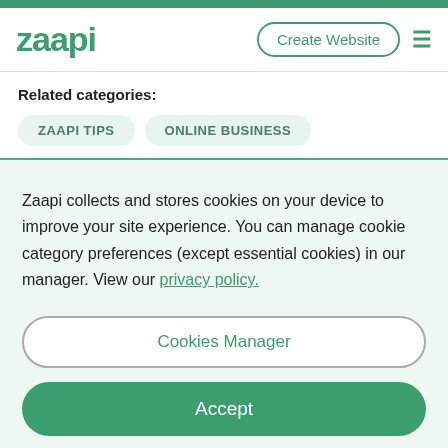zaapi | Create Website | ☰
Related categories:
ZAAPI TIPS
ONLINE BUSINESS
Zaapi collects and stores cookies on your device to improve your site experience. You can manage cookie category preferences (except essential cookies) in our manager. View our privacy policy.
Cookies Manager
Accept